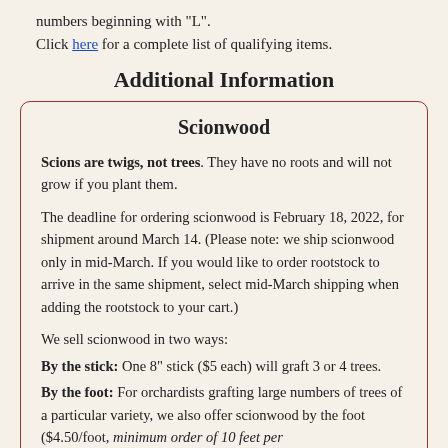numbers beginning with "L".
Click here for a complete list of qualifying items.
Additional Information
Scionwood
Scions are twigs, not trees. They have no roots and will not grow if you plant them.
The deadline for ordering scionwood is February 18, 2022, for shipment around March 14. (Please note: we ship scionwood only in mid-March. If you would like to order rootstock to arrive in the same shipment, select mid-March shipping when adding the rootstock to your cart.)
We sell scionwood in two ways:
By the stick: One 8" stick ($5 each) will graft 3 or 4 trees.
By the foot: For orchardists grafting large numbers of trees of a particular variety, we also offer scionwood by the foot ($4.50/foot, minimum order of 10 feet per